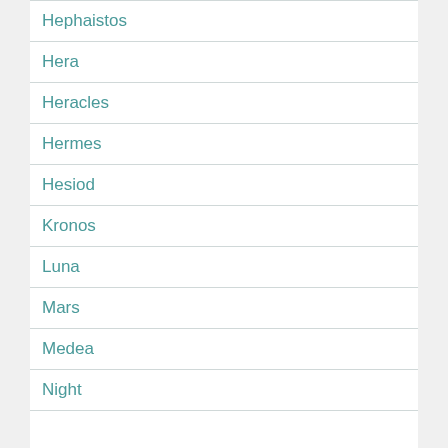Hephaistos
Hera
Heracles
Hermes
Hesiod
Kronos
Luna
Mars
Medea
Night